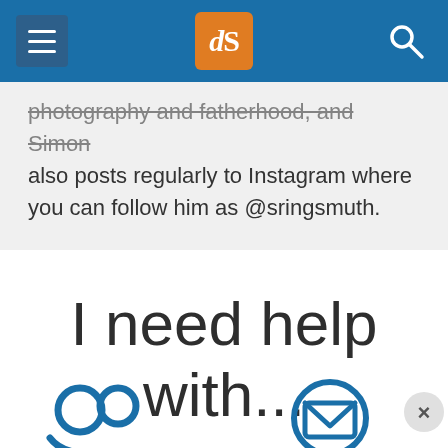dPS (Digital Photography School) navigation bar with hamburger menu, logo, and search icon
photography and fatherhood, and Simon also posts regularly to Instagram where you can follow him as @sringsmuth.
I need help with...
[Figure (illustration): Two blue circular icons partially visible at the bottom of the page — a people/group icon on the left and a mail/envelope icon on the right, with a close (×) button overlay on the far right]